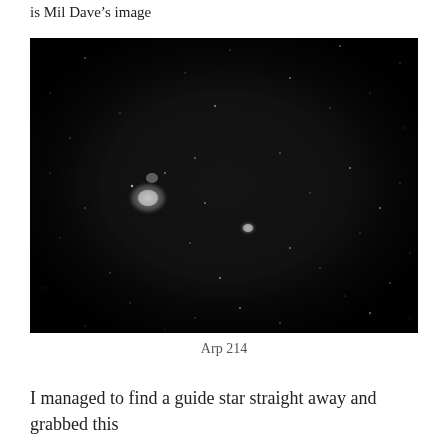is Mil Dave's image
[Figure (photo): Grayscale astrophotography image showing a dark star field with scattered stars and two faint galaxies visible, one larger glowing object on the left side and a smaller one near center. The image has dark vignetting at the corners.]
Arp 214
I managed to find a guide star straight away and grabbed this